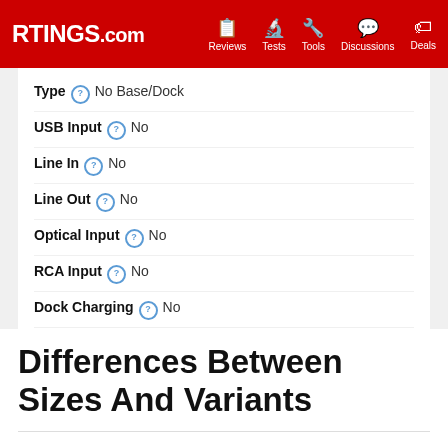RTINGS.com | Reviews | Tests | Tools | Discussions | Deals
| Type | No Base/Dock |
| USB Input | No |
| Line In | No |
| Line Out | No |
| Optical Input | No |
| RCA Input | No |
| Dock Charging | No |
| Power Supply | No Base/Dock |
LEARN ABOUT BASE/DOCK >
Differences Between Sizes And Variants